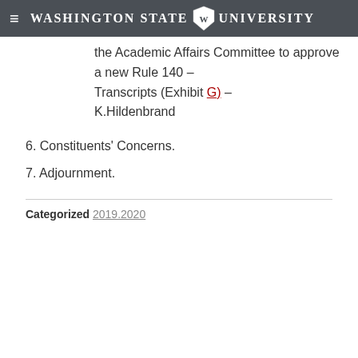Washington State University
the Academic Affairs Committee to approve a new Rule 140 – Transcripts (Exhibit G) – K.Hildenbrand
6. Constituents' Concerns.
7. Adjournment.
Categorized 2019.2020